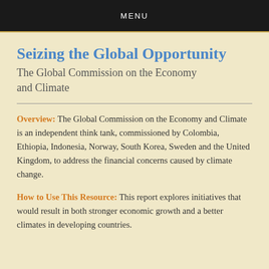MENU
Seizing the Global Opportunity
The Global Commission on the Economy and Climate
Overview: The Global Commission on the Economy and Climate is an independent think tank, commissioned by Colombia, Ethiopia, Indonesia, Norway, South Korea, Sweden and the United Kingdom, to address the financial concerns caused by climate change.
How to Use This Resource: This report explores initiatives that would result in both stronger economic growth and a better climates in developing countries.